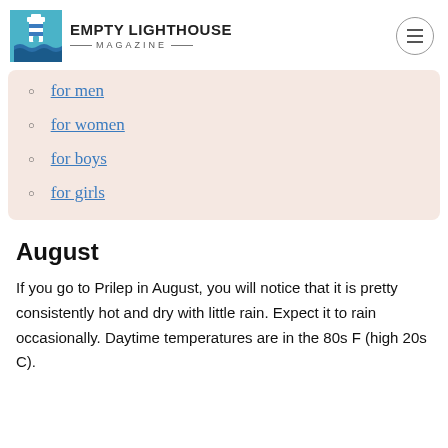EMPTY LIGHTHOUSE MAGAZINE
for men
for women
for boys
for girls
August
If you go to Prilep in August, you will notice that it is pretty consistently hot and dry with little rain. Expect it to rain occasionally. Daytime temperatures are in the 80s F (high 20s C).